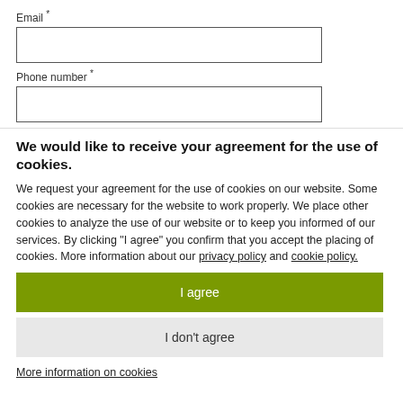Email *
Phone number *
We would like to receive your agreement for the use of cookies.
We request your agreement for the use of cookies on our website. Some cookies are necessary for the website to work properly. We place other cookies to analyze the use of our website or to keep you informed of our services. By clicking "I agree" you confirm that you accept the placing of cookies. More information about our privacy policy and cookie policy.
I agree
I don't agree
More information on cookies